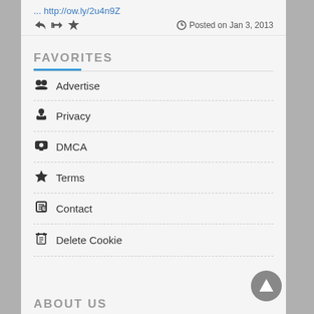... http://ow.ly/2u4n9Z
Posted on Jan 3, 2013
FAVORITES
Advertise
Privacy
DMCA
Terms
Contact
Delete Cookie
ABOUT US